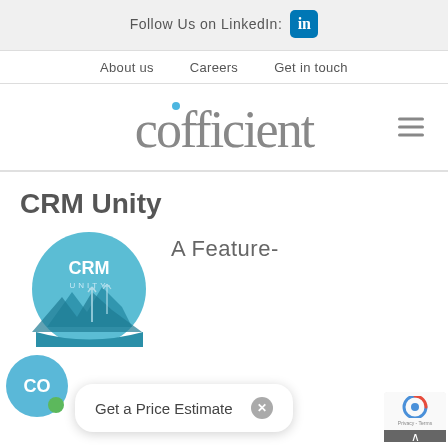Follow Us on LinkedIn:
About us   Careers   Get in touch
[Figure (logo): Cofficient company logo in serif gray text with a teal dot above the 'i']
CRM Unity
[Figure (logo): CRM Unity circular logo with teal background and wind turbine imagery]
A Feature-
Get a Price Estimate